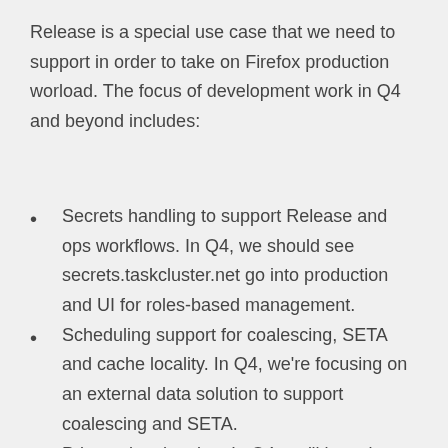Release is a special use case that we need to support in order to take on Firefox production worload. The focus of development work in Q4 and beyond includes:
Secrets handling to support Release and ops workflows. In Q4, we should see secrets.taskcluster.net go into production and UI for roles-based management.
Scheduling support for coalescing, SETA and cache locality. In Q4, we're focusing on an external data solution to support coalescing and SETA.
Private data hosting. In Q4, we'll be using a roles-based solution to support